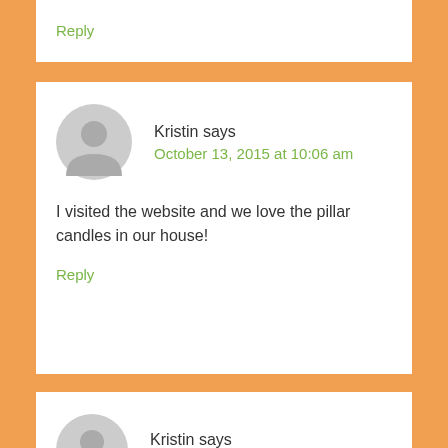Reply
Kristin says
October 13, 2015 at 10:06 am
I visited the website and we love the pillar candles in our house!
Reply
Kristin says
October 13, 2015 at 10:06 am